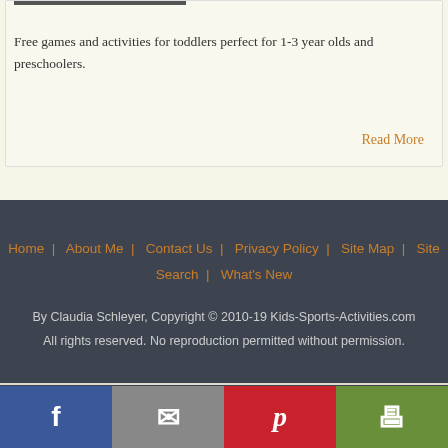Free games and activities for toddlers perfect for 1-3 year olds and preschoolers.
Read More
Home | About Me | Contact Us | Privacy Policy | Site Map | Site Search | What's New
By Claudia Schleyer, Copyright © 2010-19 Kids-Sports-Activities.com
All rights reserved. No reproduction permitted without permission.
[Figure (other): Social share bar with Facebook, email, Pinterest, and print buttons at bottom of page]